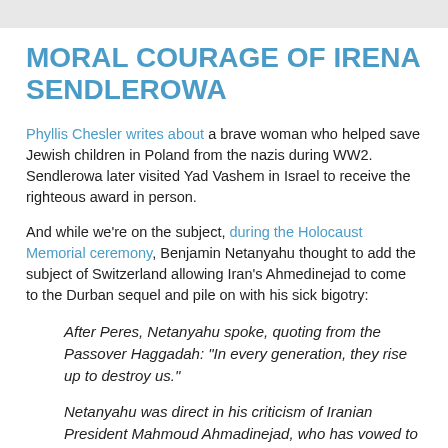MORAL COURAGE OF IRENA SENDLEROWA
Phyllis Chesler writes about a brave woman who helped save Jewish children in Poland from the nazis during WW2. Sendlerowa later visited Yad Vashem in Israel to receive the righteous award in person.
And while we're on the subject, during the Holocaust Memorial ceremony, Benjamin Netanyahu thought to add the subject of Switzerland allowing Iran's Ahmedinejad to come to the Durban sequel and pile on with his sick bigotry:
After Peres, Netanyahu spoke, quoting from the Passover Haggadah: “In every generation, they rise up to destroy us.”
Netanyahu was direct in his criticism of Iranian President Mahmoud Ahmadinejad, who has vowed to “wipe Israel off the map.” Directing